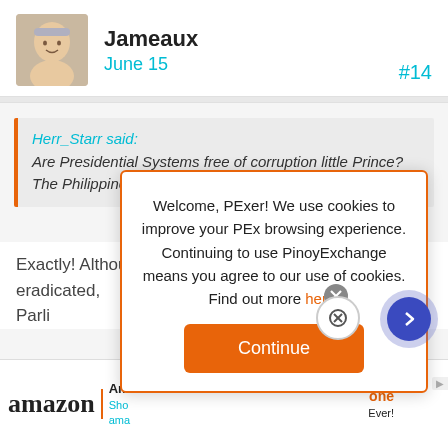Jameaux | June 15 | #14
Herr_Starr said: Are Presidential Systems free of corruption little Prince? The Philippines says no. 😉
Exactly! Although corruption may not entirely be eradicated, countries under Parliamentary systems are less corrupt than many Presidential systems.
[Figure (screenshot): Cookie consent dialog overlay: 'Welcome, PExer! We use cookies to improve your PEx browsing experience. Continuing to use PinoyExchange means you agree to our use of cookies. Find out more here.' with a Continue button.]
[Figure (other): Amazon advertisement bar at the bottom of the page.]